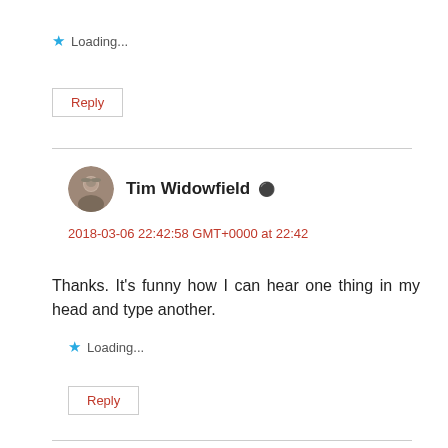★ Loading...
Reply
Tim Widowfield
2018-03-06 22:42:58 GMT+0000 at 22:42
Thanks. It's funny how I can hear one thing in my head and type another.
★ Loading...
Reply